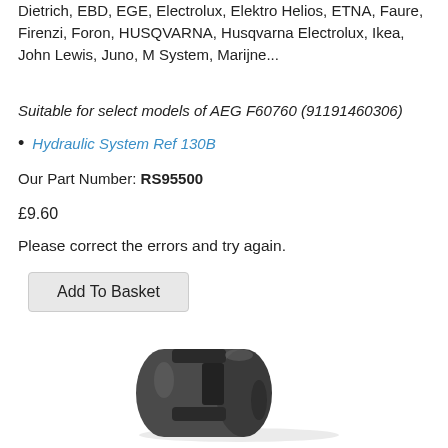Dietrich, EBD, EGE, Electrolux, Elektro Helios, ETNA, Faure, Firenzi, Foron, HUSQVARNA, Husqvarna Electrolux, Ikea, John Lewis, Juno, M System, Marijne...
Suitable for select models of AEG F60760 (91191460306)
Hydraulic System Ref 130B
Our Part Number: RS95500
£9.60
Please correct the errors and try again.
[Figure (photo): A dark grey plastic part — a cylindrical connector or clip component with a slotted groove, viewed at an angle.]